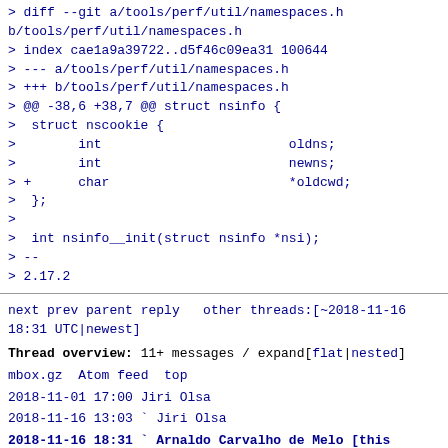> diff --git a/tools/perf/util/namespaces.h b/tools/perf/util/namespaces.h
> index cae1a9a39722..d5f46c09ea31 100644
> --- a/tools/perf/util/namespaces.h
> +++ b/tools/perf/util/namespaces.h
> @@ -38,6 +38,7 @@ struct nsinfo {
>  struct nscookie {
>        int                        oldns;
>        int                        newns;
> +      char                       *oldcwd;
>  };
> 
>   int nsinfo__init(struct nsinfo *nsi);
> --
> 2.17.2
next prev parent reply  other threads:[~2018-11-16 18:31 UTC|newest]
Thread overview: 11+ messages / expand[flat|nested]
mbox.gz  Atom feed  top
2018-11-01 17:00 Jiri Olsa
2018-11-16 13:03 ` Jiri Olsa
2018-11-16 18:31 ` Arnaldo Carvalho de Melo [this message]
2018-11-16 18:42   ` Arnaldo Carvalho de Melo
2018-11-17  9:00     ` Jiri Olsa
2018-11-19 16:10 ` Arnaldo Carvalho de Melo
2018-11-20 10:56   ` Jiri Olsa